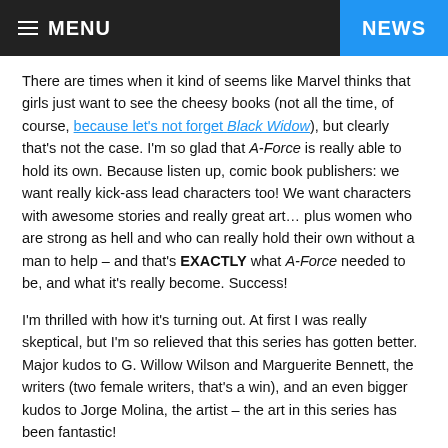MENU | NEWS
There are times when it kind of seems like Marvel thinks that girls just want to see the cheesy books (not all the time, of course, because let's not forget Black Widow), but clearly that's not the case. I'm so glad that A-Force is really able to hold its own. Because listen up, comic book publishers: we want really kick-ass lead characters too! We want characters with awesome stories and really great art… plus women who are strong as hell and who can really hold their own without a man to help – and that's EXACTLY what A-Force needed to be, and what it's really become. Success!
I'm thrilled with how it's turning out. At first I was really skeptical, but I'm so relieved that this series has gotten better. Major kudos to G. Willow Wilson and Marguerite Bennett, the writers (two female writers, that's a win), and an even bigger kudos to Jorge Molina, the artist – the art in this series has been fantastic!
I'm eager to read the next issue, and seriously, Marvel, really kick-ass She-